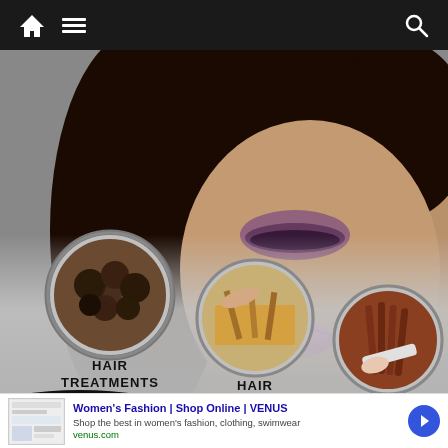[Figure (screenshot): Mobile website navigation bar with home icon, hamburger menu icon, and search icon on dark background]
[Figure (infographic): Hair salon services advertisement showing a woman with curly hair and bright lips, with three circular images showing hair treatments, hair color, and hair cutting services with text labels]
[Figure (infographic): Advertisement banner for Women's Fashion at VENUS - Shop Online. Shows website thumbnail, title 'Women's Fashion | Shop Online | VENUS', subtitle 'Shop the best in women's fashion, clothing, swimwear', URL 'venus.com', and a blue arrow button]